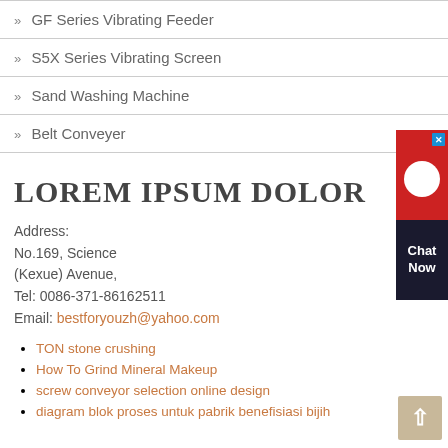» GF Series Vibrating Feeder
» S5X Series Vibrating Screen
» Sand Washing Machine
» Belt Conveyer
LOREM IPSUM DOLOR
Address:
No.169, Science
(Kexue) Avenue,
Tel: 0086-371-86162511
Email: bestforyouzh@yahoo.com
TON stone crushing
How To Grind Mineral Makeup
screw conveyor selection online design
diagram blok proses untuk pabrik benefisiasi bijih